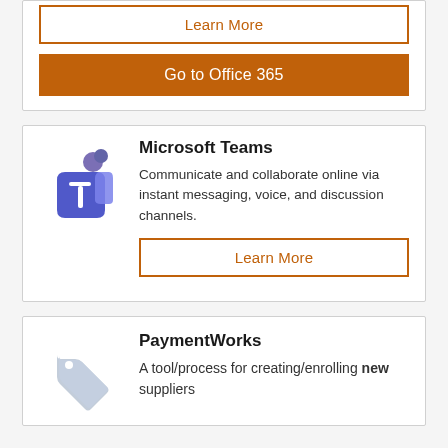[Figure (other): Learn More button (outlined, orange border and text)]
[Figure (other): Go to Office 365 button (filled orange background, white text)]
[Figure (logo): Microsoft Teams logo icon — purple shield with T letter and people silhouettes]
Microsoft Teams
Communicate and collaborate online via instant messaging, voice, and discussion channels.
[Figure (other): Learn More button (outlined, orange border and text)]
[Figure (logo): PaymentWorks icon — gray price tag/label icon]
PaymentWorks
A tool/process for creating/enrolling new suppliers